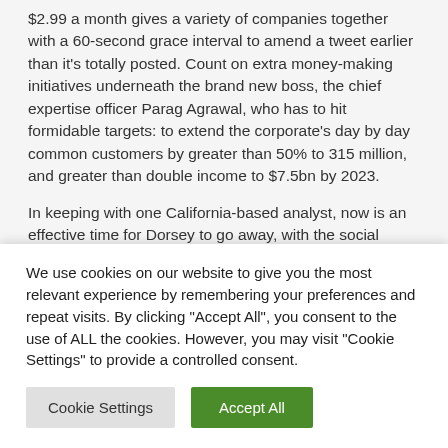$2.99 a month gives a variety of companies together with a 60-second grace interval to amend a tweet earlier than it's totally posted. Count on extra money-making initiatives underneath the brand new boss, the chief expertise officer Parag Agrawal, who has to hit formidable targets: to extend the corporate's day by day common customers by greater than 50% to 315 million, and greater than double income to $7.5bn by 2023.
In keeping with one California-based analyst, now is an effective time for Dorsey to go away, with the social
We use cookies on our website to give you the most relevant experience by remembering your preferences and repeat visits. By clicking "Accept All", you consent to the use of ALL the cookies. However, you may visit "Cookie Settings" to provide a controlled consent.